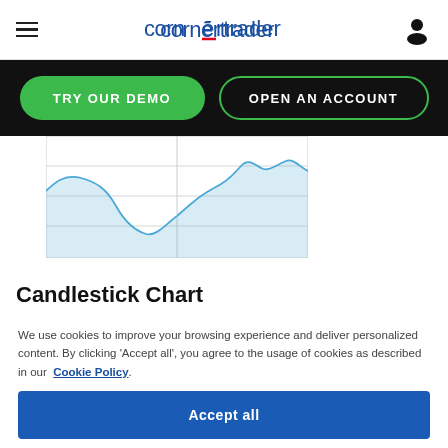cornertrader
[Figure (screenshot): Two navigation buttons on black background: 'TRY OUR DEMO' (green filled) and 'OPEN AN ACCOUNT' (green outline)]
[Figure (area-chart): Partial area chart showing a jagged blue line with light blue fill, split into two panels by a vertical grid line. Left panel shows a peak then a trough; right panel shows an overall upward trend with two peaks.]
Candlestick Chart
We use cookies to improve your browsing experience and deliver personalized content. By clicking 'Accept all', you agree to the usage of cookies as described in our Cookie Policy.
Accept all
Cookies settings